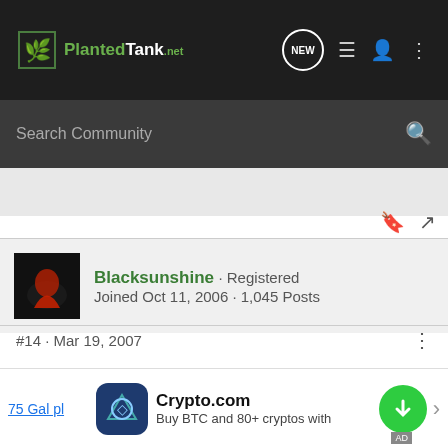PlantedTank - Search Community
Blacksunshine · Registered
Joined Oct 11, 2006 · 1,045 Posts
#14 · Mar 19, 2007
ok. Well thank you for sharing and the info. I feel alot better about getting my breeding program underway now.
75 Gal pl
Crypto.com
Buy BTC and 80+ cryptos with